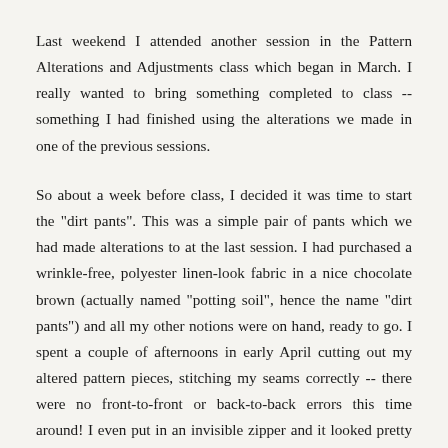Last weekend I attended another session in the Pattern Alterations and Adjustments class which began in March. I really wanted to bring something completed to class -- something I had finished using the alterations we made in one of the previous sessions.
So about a week before class, I decided it was time to start the "dirt pants". This was a simple pair of pants which we had made alterations to at the last session. I had purchased a wrinkle-free, polyester linen-look fabric in a nice chocolate brown (actually named "potting soil", hence the name "dirt pants") and all my other notions were on hand, ready to go. I spent a couple of afternoons in early April cutting out my altered pattern pieces, stitching my seams correctly -- there were no front-to-front or back-to-back errors this time around! I even put in an invisible zipper and it looked pretty good. I had a little trouble with the waistband, which was